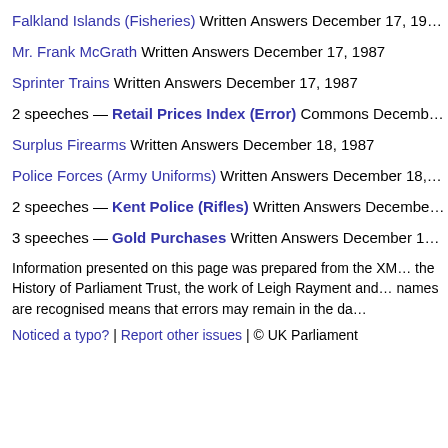Falkland Islands (Fisheries) Written Answers December 17, 19…
Mr. Frank McGrath Written Answers December 17, 1987
Sprinter Trains Written Answers December 17, 1987
2 speeches — Retail Prices Index (Error) Commons Decemb…
Surplus Firearms Written Answers December 18, 1987
Police Forces (Army Uniforms) Written Answers December 18,…
2 speeches — Kent Police (Rifles) Written Answers Decembe…
3 speeches — Gold Purchases Written Answers December 1…
Information presented on this page was prepared from the XM… the History of Parliament Trust, the work of Leigh Rayment and… names are recognised means that errors may remain in the da…
Noticed a typo? | Report other issues | © UK Parliament